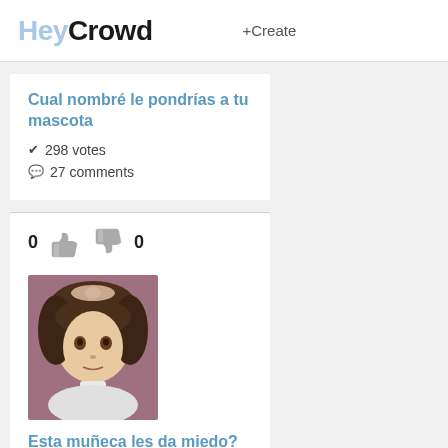HeyCrowd +Create
Cual nombré le pondrías a tu mascota
✔ 298 votes
💬 27 comments
0 👍 👎 0
[Figure (photo): Photo of a porcelain doll with brown hair and a bow, against a pink/mauve background]
Esta muñeca les da miedo?
✔ 209 votes